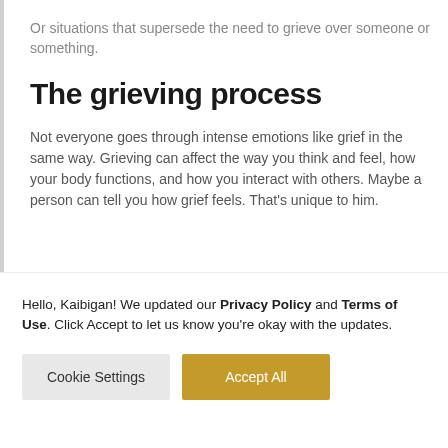Or situations that supersede the need to grieve over someone or something.
The grieving process
Not everyone goes through intense emotions like grief in the same way. Grieving can affect the way you think and feel, how your body functions, and how you interact with others. Maybe a person can tell you how grief feels. That's unique to him.
Hello, Kaibigan! We updated our Privacy Policy and Terms of Use. Click Accept to let us know you're okay with the updates.